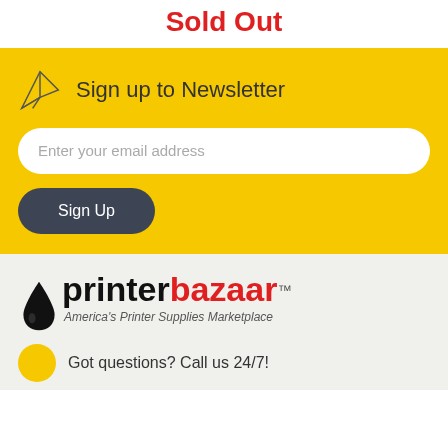Sold Out
Sign up to Newsletter
Enter your email address
Sign Up
[Figure (logo): printerbazaar logo with ink drop and tagline: America's Printer Supplies Marketplace]
Got questions? Call us 24/7!